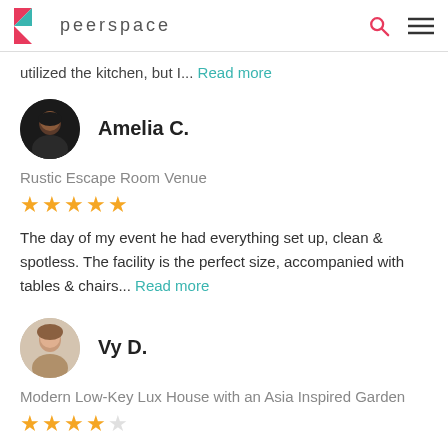peerspace
utilized the kitchen, but I... Read more
Amelia C.
Rustic Escape Room Venue
★★★★★
The day of my event he had everything set up, clean & spotless. The facility is the perfect size, accompanied with tables & chairs... Read more
Vy D.
Modern Low-Key Lux House with an Asia Inspired Garden
★★★★★